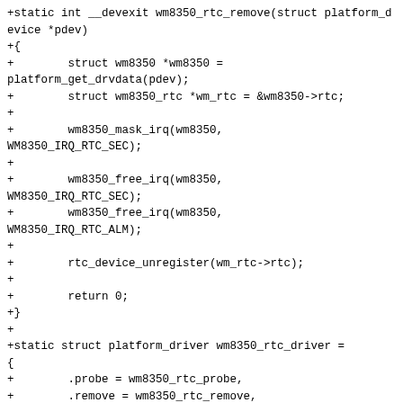+static int __devexit wm8350_rtc_remove(struct platform_device *pdev)
+{
+        struct wm8350 *wm8350 = platform_get_drvdata(pdev);
+        struct wm8350_rtc *wm_rtc = &wm8350->rtc;
+
+        wm8350_mask_irq(wm8350, WM8350_IRQ_RTC_SEC);
+
+        wm8350_free_irq(wm8350, WM8350_IRQ_RTC_SEC);
+        wm8350_free_irq(wm8350, WM8350_IRQ_RTC_ALM);
+
+        rtc_device_unregister(wm_rtc->rtc);
+
+        return 0;
+}
+
+static struct platform_driver wm8350_rtc_driver = {
+        .probe = wm8350_rtc_probe,
+        .remove = wm8350_rtc_remove,
+        .suspend = wm8350_rtc_suspend,
+        .resume = wm8350_rtc_resume,
+        .driver = {
+                .name = "wm8350-rtc",
+        },
+};